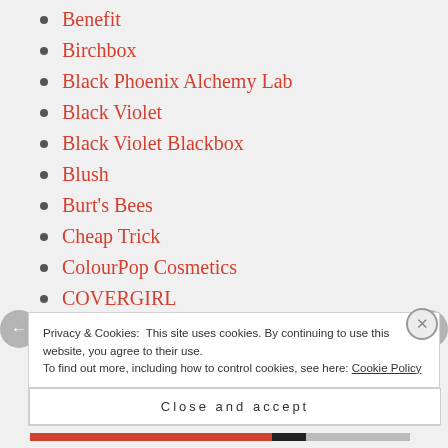Benefit
Birchbox
Black Phoenix Alchemy Lab
Black Violet
Black Violet Blackbox
Blush
Burt's Bees
Cheap Trick
ColourPop Cosmetics
COVERGIRL
Darling Clandestine
Privacy & Cookies: This site uses cookies. By continuing to use this website, you agree to their use.
To find out more, including how to control cookies, see here: Cookie Policy
Close and accept